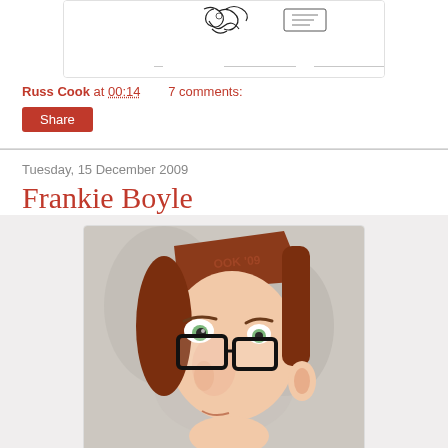[Figure (illustration): Sketch/cartoon illustration (partial, top portion visible) with black ink drawing on white background]
Russ Cook at 00:14    7 comments:
Share
Tuesday, 15 December 2009
Frankie Boyle
[Figure (illustration): Cartoon caricature illustration of Frankie Boyle - stylized figure with brown hair, large nose, and thick black glasses, wearing what appears to be a hat with 'OOK '09' text, on grey background]